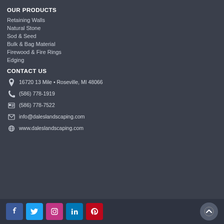OUR PRODUCTS
Retaining Walls
Natural Stone
Sod & Seed
Bulk & Bag Material
Firewood & Fire Rings
Edging
CONTACT US
16720 13 Mile • Roseville, MI 48066
(586) 778-1919
(586) 778-7522
info@daleslandscaping.com
www.daleslandscaping.com
[Figure (illustration): Social media icons: Facebook, Twitter, Instagram, LinkedIn, Pinterest, and scroll-to-top button]